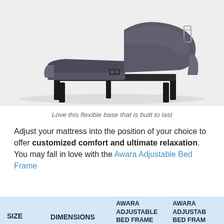[Figure (photo): Adjustable bed frame shown in a raised/reclined position with dark gray upholstery and black metal legs, photographed against a light gray/white background.]
Love this flexible base that is built to last
Adjust your mattress into the position of your choice to offer customized comfort and ultimate relaxation. You may fall in love with the Awara Adjustable Bed Frame
| SIZE | DIMENSIONS | AWARA ADJUSTABLE BED FRAME | AWARA ADJUSTABLE BED FRAME |
| --- | --- | --- | --- |